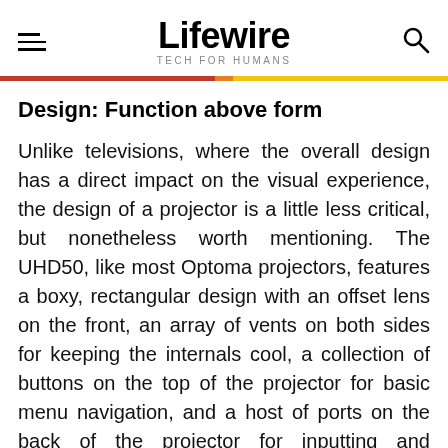Lifewire TECH FOR HUMANS
Design: Function above form
Unlike televisions, where the overall design has a direct impact on the visual experience, the design of a projector is a little less critical, but nonetheless worth mentioning. The UHD50, like most Optoma projectors, features a boxy, rectangular design with an offset lens on the front, an array of vents on both sides for keeping the internals cool, a collection of buttons on the top of the projector for basic menu navigation, and a host of ports on the back of the projector for inputting and outputting various media